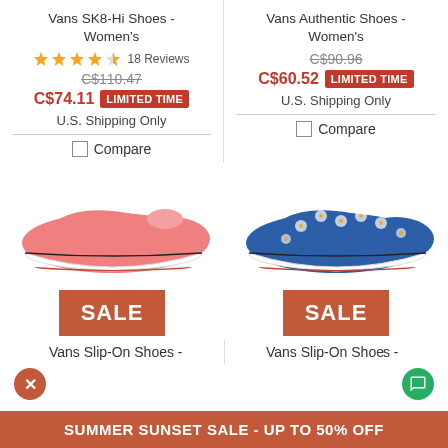Vans SK8-Hi Shoes - Women's
★★★★☆ 18 Reviews
C$110.47 (strikethrough)
C$74.11 LIMITED TIME
U.S. Shipping Only
Compare
Vans Authentic Shoes - Women's
C$90.96 (strikethrough)
C$60.52 LIMITED TIME
U.S. Shipping Only
Compare
[Figure (photo): Pink Vans slip-on shoe with SALE badge]
[Figure (photo): Blue floral Vans slip-on shoe with SALE badge]
Vans Slip-On Shoes -
Vans Slip-On Sho-
SUMMER SUNSET SALE - UP TO 50% OFF